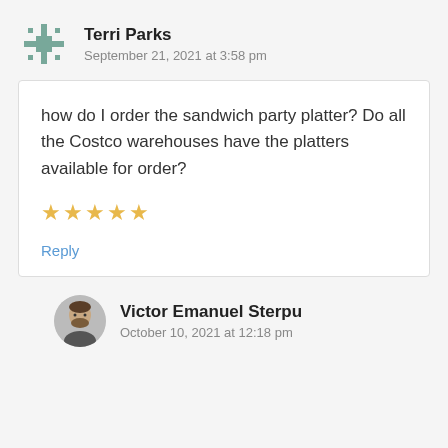Terri Parks
September 21, 2021 at 3:58 pm
how do I order the sandwich party platter? Do all the Costco warehouses have the platters available for order?
★★★★★
Reply
Victor Emanuel Sterpu
October 10, 2021 at 12:18 pm